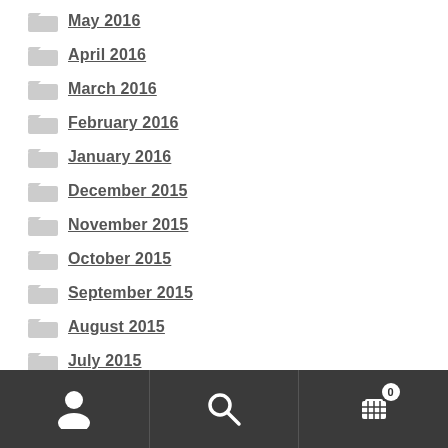May 2016
April 2016
March 2016
February 2016
January 2016
December 2015
November 2015
October 2015
September 2015
August 2015
July 2015
June 2015
User | Search | Cart (0)